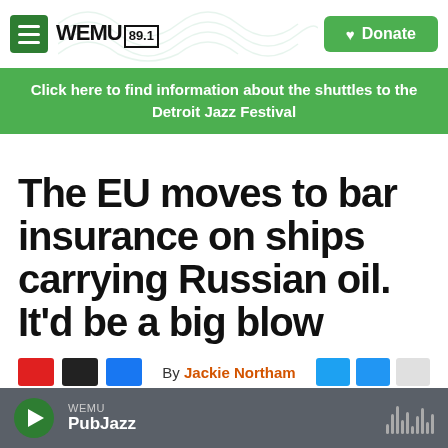WEMU 89.1 | Donate
Click here to find information about the shuttles to the Detroit Jazz Festival
The EU moves to bar insurance on ships carrying Russian oil. It'd be a big blow
By Jackie Northam
WEMU PubJazz